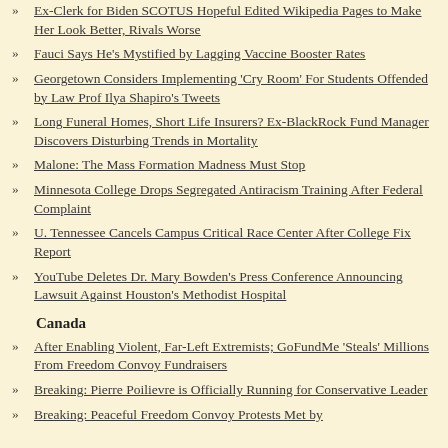Ex-Clerk for Biden SCOTUS Hopeful Edited Wikipedia Pages to Make Her Look Better, Rivals Worse
Fauci Says He's Mystified by Lagging Vaccine Booster Rates
Georgetown Considers Implementing 'Cry Room' For Students Offended by Law Prof Ilya Shapiro's Tweets
Long Funeral Homes, Short Life Insurers? Ex-BlackRock Fund Manager Discovers Disturbing Trends in Mortality
Malone: The Mass Formation Madness Must Stop
Minnesota College Drops Segregated Antiracism Training After Federal Complaint
U. Tennessee Cancels Campus Critical Race Center After College Fix Report
YouTube Deletes Dr. Mary Bowden's Press Conference Announcing Lawsuit Against Houston's Methodist Hospital
Canada
After Enabling Violent, Far-Left Extremists; GoFundMe 'Steals' Millions From Freedom Convoy Fundraisers
Breaking: Pierre Poilievre is Officially Running for Conservative Leader
Breaking: Peaceful Freedom Convoy Protests Met by